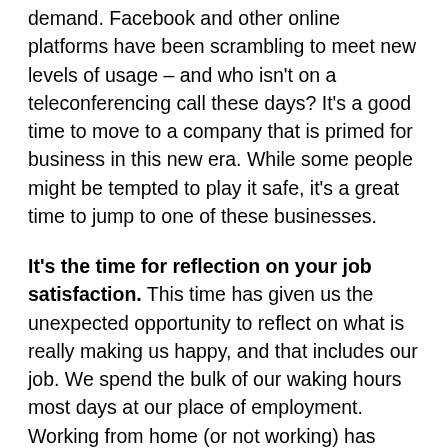demand. Facebook and other online platforms have been scrambling to meet new levels of usage – and who isn't on a teleconferencing call these days? It's a good time to move to a company that is primed for business in this new era. While some people might be tempted to play it safe, it's a great time to jump to one of these businesses.
It's the time for reflection on your job satisfaction. This time has given us the unexpected opportunity to reflect on what is really making us happy, and that includes our job. We spend the bulk of our waking hours most days at our place of employment. Working from home (or not working) has really focused us on what exactly is the core of our work and reduced it to its most essential elements. Is it what makes you happy? Are these the people you